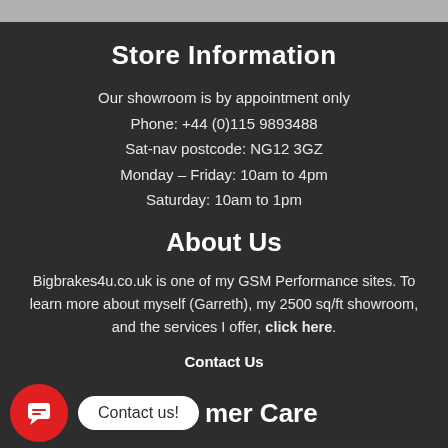Store Information
Our showroom is by appointment only
Phone: +44 (0)115 9893488
Sat-nav postcode: NG12 3GZ
Monday – Friday: 10am to 4pm
Saturday: 10am to 1pm
About Us
Bigbrakes4u.co.uk is one of my GSM Performance sites. To learn more about myself (Garreth), my 2500 sq/ft showroom, and the services I offer, click here.
Contact Us
[Figure (other): Red circular chat button icon with speech bubble, a white pill-shaped button labeled 'Contact us!', and partial text 'mer Care' (Customer Care)]
Payment & Finance